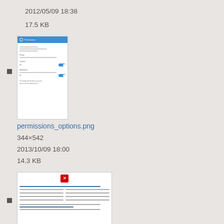2012/05/09 18:38
17.5 KB
[Figure (screenshot): Thumbnail of permissions_options.png showing a mobile permissions settings screen with blue header and toggle switches]
permissions_options.png
344×542
2013/10/09 18:00
14.3 KB
[Figure (screenshot): Thumbnail of pingsaml.jpg showing a document/form with text lines and blue link text]
pingsaml.jpg
531×360
2015/09/22 21:51
35.6 KB
[Figure (illustration): Thumbnail of plus_icon.png showing a green circle with a white plus sign on white background]
plus_icon.png